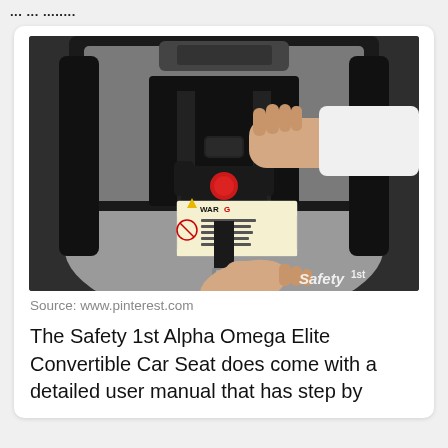...
[Figure (photo): Photo of a Safety 1st car seat harness buckle being fastened by a person's hands. A warning label is visible on the seat. The Safety 1st logo appears at the bottom right.]
Source: www.pinterest.com
The Safety 1st Alpha Omega Elite Convertible Car Seat does come with a detailed user manual that has step by